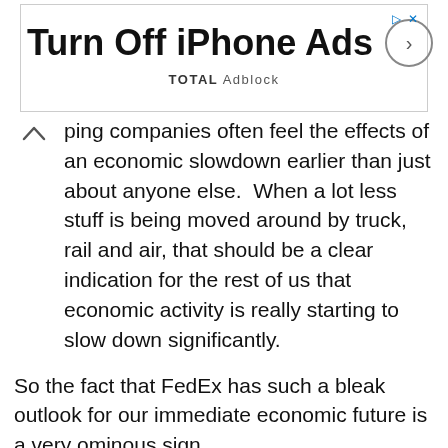[Figure (screenshot): Advertisement banner: Apple logo, 'Turn Off iPhone Ads' heading, circular arrow button, 'TOTAL Adblock' subtitle, with close/info icons top right]
ping companies often feel the effects of an economic slowdown earlier than just about anyone else.  When a lot less stuff is being moved around by truck, rail and air, that should be a clear indication for the rest of us that economic activity is really starting to slow down significantly.
So the fact that FedEx has such a bleak outlook for our immediate economic future is a very ominous sign.
Tough times are ahead, and considering how tense things already are in our country, an economic downturn at this time could